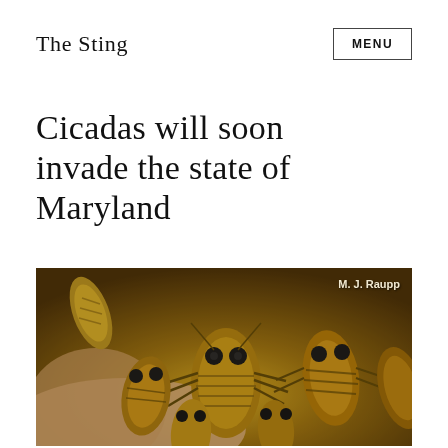The Sting
Cicadas will soon invade the state of Maryland
[Figure (photo): Close-up photograph of multiple cicada nymphs held in a person's hands, showing their golden-brown shells and dark eyes. Photo credit: M. J. Raupp]